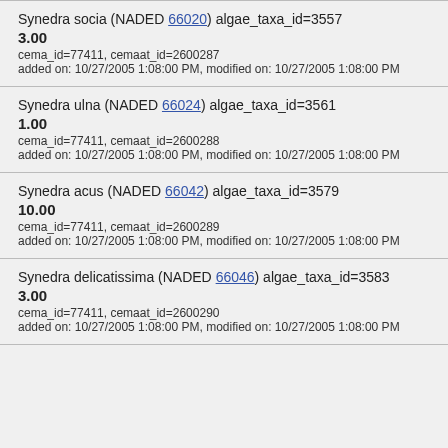Synedra socia (NADED 66020) algae_taxa_id=3557
3.00
cema_id=77411, cemaat_id=2600287
added on: 10/27/2005 1:08:00 PM, modified on: 10/27/2005 1:08:00 PM
Synedra ulna (NADED 66024) algae_taxa_id=3561
1.00
cema_id=77411, cemaat_id=2600288
added on: 10/27/2005 1:08:00 PM, modified on: 10/27/2005 1:08:00 PM
Synedra acus (NADED 66042) algae_taxa_id=3579
10.00
cema_id=77411, cemaat_id=2600289
added on: 10/27/2005 1:08:00 PM, modified on: 10/27/2005 1:08:00 PM
Synedra delicatissima (NADED 66046) algae_taxa_id=3583
3.00
cema_id=77411, cemaat_id=2600290
added on: 10/27/2005 1:08:00 PM, modified on: 10/27/2005 1:08:00 PM